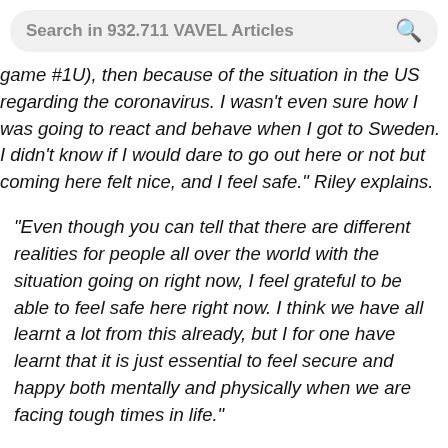Search in 932.711 VAVEL Articles
game #1U), then because of the situation in the US regarding the coronavirus. I wasn't even sure how I was going to react and behave when I got to Sweden. I didn't know if I would dare to go out here or not but coming here felt nice, and I feel safe." Riley explains.
"Even though you can tell that there are different realities for people all over the world with the situation going on right now, I feel grateful to be able to feel safe here right now. I think we have all learnt a lot from this already, but I for one have learnt that it is just essential to feel secure and happy both mentally and physically when we are facing tough times in life."